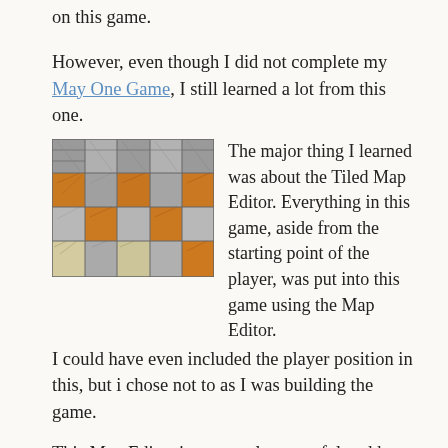on this game.
However, even though I did not complete my May One Game, I still learned a lot from this one.
[Figure (screenshot): A pixelated tile map screenshot showing a checkerboard pattern of grey stone tiles and orange/brown tiles with a grassy/textured tile in the bottom row.]
The major thing I learned was about the Tiled Map Editor. Everything in this game, aside from the starting point of the player, was put into this game using the Map Editor. I could have even included the player position in this, but i chose not to as I was building the game.
This Map Editor is extremely powerful and has been added to my permanent set of